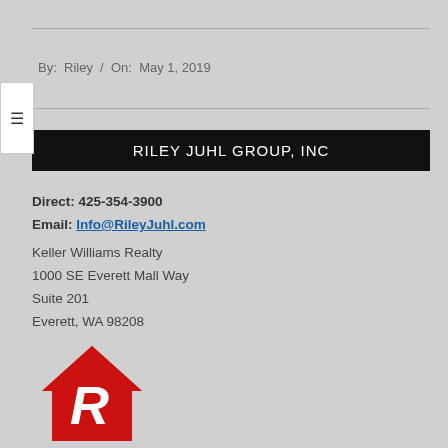By: Riley / On: May 1, 2019
RILEY JUHL GROUP, INC
Direct: 425-354-3900
Email: Info@RileyJuhl.com
Keller Williams Realty
1000 SE Everett Mall Way
Suite 201
Everett, WA 98208
[Figure (logo): Keller Williams / Riley Juhl Group logo — red house shape with a white stylized R inside, and partial kw text below]